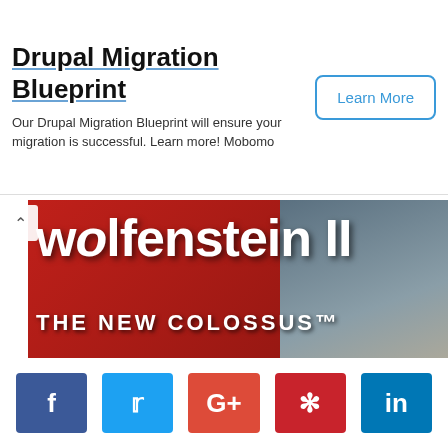[Figure (screenshot): Advertisement banner for Drupal Migration Blueprint by Mobomo with a Learn More button]
[Figure (screenshot): Wolfenstein II: The New Colossus game banner image with red background, title text, and black bottom bar with video controls]
[Figure (infographic): Social media share buttons: Facebook (blue), Twitter (light blue), Google+ (red-orange), Pinterest (red), LinkedIn (blue)]